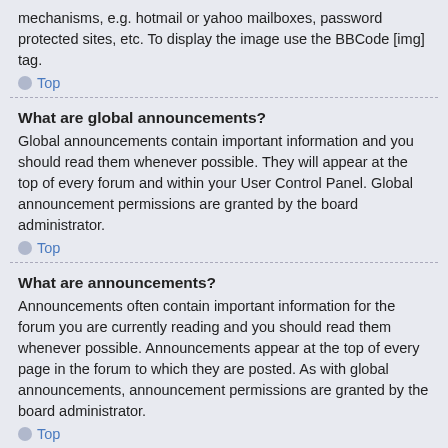mechanisms, e.g. hotmail or yahoo mailboxes, password protected sites, etc. To display the image use the BBCode [img] tag.
Top
What are global announcements?
Global announcements contain important information and you should read them whenever possible. They will appear at the top of every forum and within your User Control Panel. Global announcement permissions are granted by the board administrator.
Top
What are announcements?
Announcements often contain important information for the forum you are currently reading and you should read them whenever possible. Announcements appear at the top of every page in the forum to which they are posted. As with global announcements, announcement permissions are granted by the board administrator.
Top
What are sticky topics?
Sticky topics within the forum appear below announcements and only on the first page. They are often quite important so you should